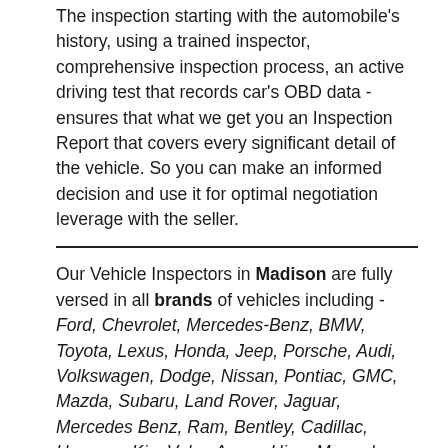The inspection starting with the automobile's history, using a trained inspector, comprehensive inspection process, an active driving test that records car's OBD data - ensures that what we get you an Inspection Report that covers every significant detail of the vehicle. So you can make an informed decision and use it for optimal negotiation leverage with the seller.
Our Vehicle Inspectors in Madison are fully versed in all brands of vehicles including - Ford, Chevrolet, Mercedes-Benz, BMW, Toyota, Lexus, Honda, Jeep, Porsche, Audi, Volkswagen, Dodge, Nissan, Pontiac, GMC, Mazda, Subaru, Land Rover, Jaguar, Mercedes Benz, Ram, Bentley, Cadillac, Hummer, Kia, Volvo,Acura, Hino, Mercedes, MINI, Mitsubishi,